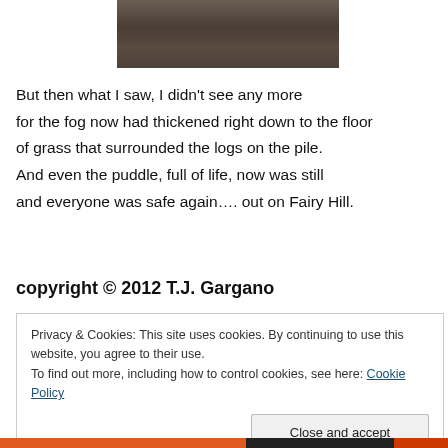[Figure (photo): A dark, textured outdoor photo showing foggy grassland or moorland surface, cropped to show only the lower portion of the scene.]
But then what I saw, I didn't see any more for the fog now had thickened right down to the floor of grass that surrounded the logs on the pile. And even the puddle, full of life, now was still and everyone was safe again…. out on Fairy Hill.
copyright © 2012 T.J. Gargano
Privacy & Cookies: This site uses cookies. By continuing to use this website, you agree to their use. To find out more, including how to control cookies, see here: Cookie Policy
Close and accept